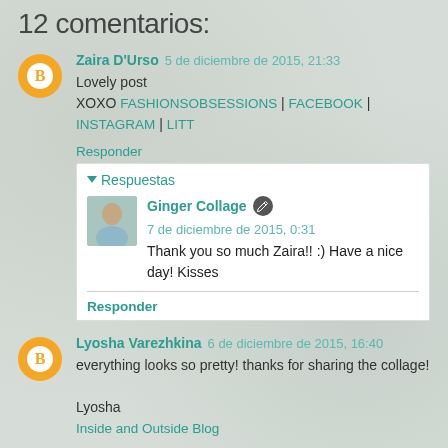12 comentarios:
Zaira D'Urso  5 de diciembre de 2015, 21:33
Lovely post
XOXO FASHIONSOBSESSIONS | FACEBOOK | INSTAGRAM | LITT
Responder
▾ Respuestas
Ginger Collage  7 de diciembre de 2015, 0:31
Thank you so much Zaira!! :) Have a nice day! Kisses
Responder
Lyosha Varezhkina  6 de diciembre de 2015, 16:40
everything looks so pretty! thanks for sharing the collage!

Lyosha
Inside and Outside Blog
Responder